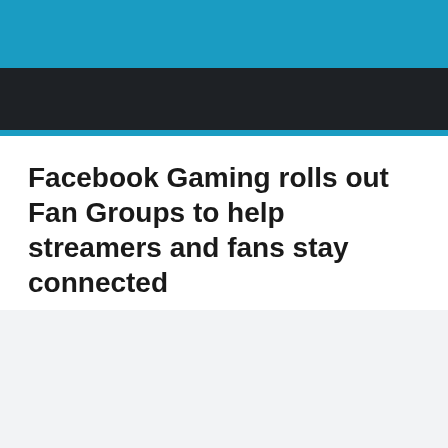Facebook Gaming rolls out Fan Groups to help streamers and fans stay connected
Allen   1 year ago